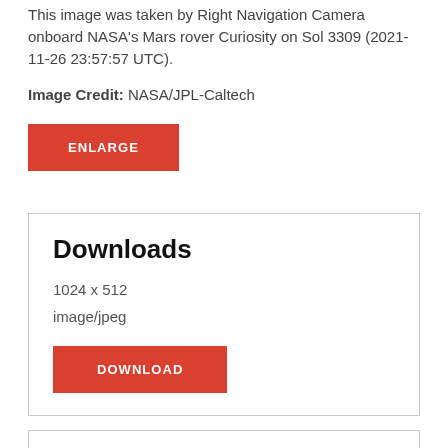This image was taken by Right Navigation Camera onboard NASA's Mars rover Curiosity on Sol 3309 (2021-11-26 23:57:57 UTC).
Image Credit: NASA/JPL-Caltech
ENLARGE
Downloads
1024 x 512
image/jpeg
DOWNLOAD
Embed